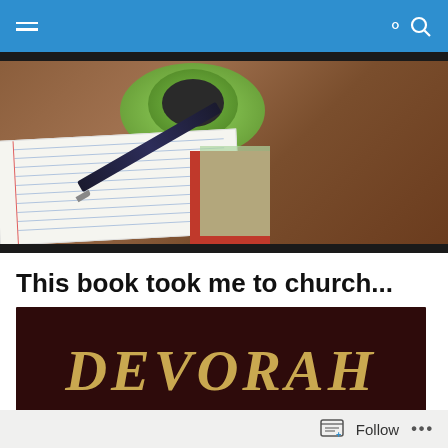Navigation bar with hamburger menu and search icon
[Figure (photo): Photo of an open lined notebook with a pen resting on it and a green coffee cup with saucer on a wooden table, shown at an angle from above. Only the left portion of the image is visible.]
This book took me to church...
[Figure (photo): Book cover with dark maroon/brown background showing the title 'DEVORAH' in large gold/tan serif italic letters. Only the top portion of the book cover is visible.]
Follow ...